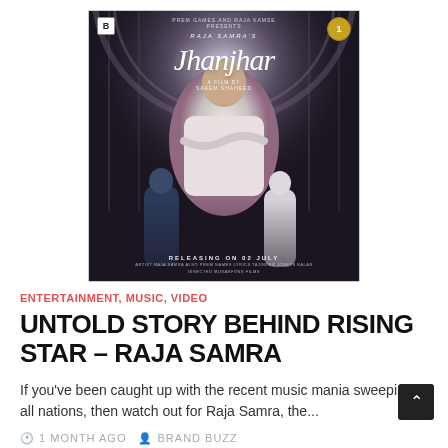[Figure (illustration): Album cover art for 'Jhanjhar' by Raja Samra. Shows a man in white sweater with arms crossed in center, a couple in foreground, interior of ornate domed building in background. Text reads 'RELEASING ON 02 JULY'. Badge B on top left, gold badge on top right.]
ENTERTAINMENT, MUSIC, VIDEO
UNTOLD STORY BEHIND RISING STAR – RAJA SAMRA
If you've been caught up with the recent music mania sweeping all nations, then watch out for Raja Samra, the...
1 MONTH AGO   BRAND BUZZ